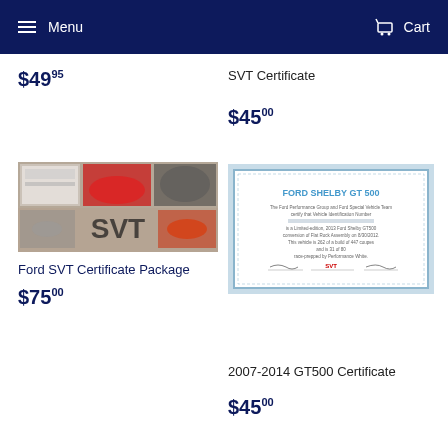Menu  Cart
$49.95
SVT Certificate
$45.00
[Figure (photo): Ford SVT Certificate Package promotional collage showing SVT logo, cars, and certificates]
Ford SVT Certificate Package
$75.00
[Figure (photo): Ford Shelby GT500 certificate document with blue border, signatures, and Ford/SVT logos]
2007-2014 GT500 Certificate
$45.00